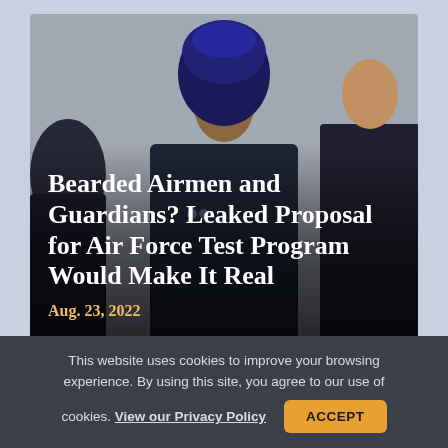[Figure (photo): Photo of military personnel in uniform, one wearing a blue turban, used as article hero image background for a story about Bearded Airmen and Guardians]
Bearded Airmen and Guardians? Leaked Proposal for Air Force Test Program Would Make It Real
Aug. 23, 2022
This website uses cookies to improve your browsing experience. By using this site, you agree to our use of cookies. View our Privacy Policy